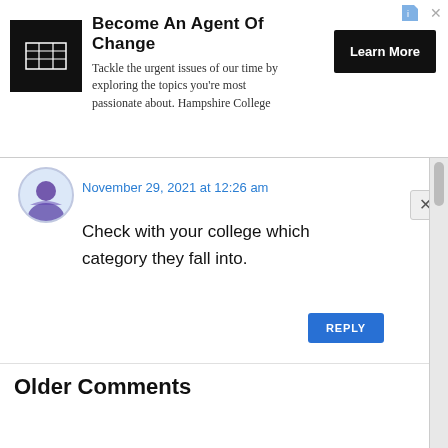[Figure (screenshot): Advertisement banner for Hampshire College. Shows a logo with grid lines on black background, bold headline 'Become An Agent Of Change', body text 'Tackle the urgent issues of our time by exploring the topics you're most passionate about. Hampshire College', and a black 'Learn More' button.]
November 29, 2021 at 12:26 am
Check with your college which category they fall into.
REPLY
Older Comments